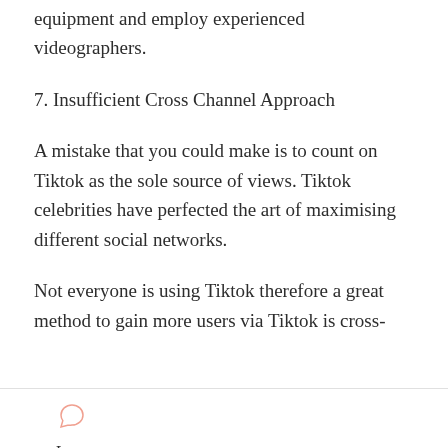equipment and employ experienced videographers.
7. Insufficient Cross Channel Approach
A mistake that you could make is to count on Tiktok as the sole source of views. Tiktok celebrities have perfected the art of maximising different social networks.
Not everyone is using Tiktok therefore a great method to gain more users via Tiktok is cross-
Leave a Comment